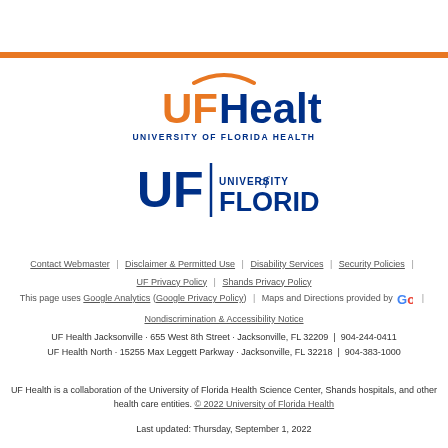[Figure (logo): UF Health - University of Florida Health logo with orange arc above UF in orange and Health in dark blue, with UNIVERSITY OF FLORIDA HEALTH subtitle]
[Figure (logo): University of Florida logo with bold UF and vertical bar followed by UNIVERSITY of FLORIDA text in dark blue]
Contact Webmaster | Disclaimer & Permitted Use | Disability Services | Security Policies | UF Privacy Policy | Shands Privacy Policy
This page uses Google Analytics (Google Privacy Policy) | Maps and Directions provided by Google |
Nondiscrimination & Accessibility Notice
UF Health Jacksonville · 655 West 8th Street · Jacksonville, FL 32209 | 904-244-0411
UF Health North · 15255 Max Leggett Parkway · Jacksonville, FL 32218 | 904-383-1000
UF Health is a collaboration of the University of Florida Health Science Center, Shands hospitals, and other health care entities. © 2022 University of Florida Health
Last updated: Thursday, September 1, 2022